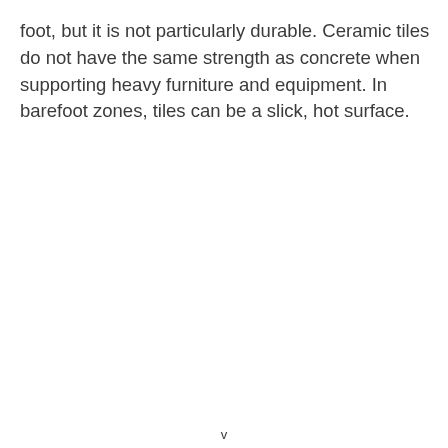foot, but it is not particularly durable. Ceramic tiles do not have the same strength as concrete when supporting heavy furniture and equipment. In barefoot zones, tiles can be a slick, hot surface.
v